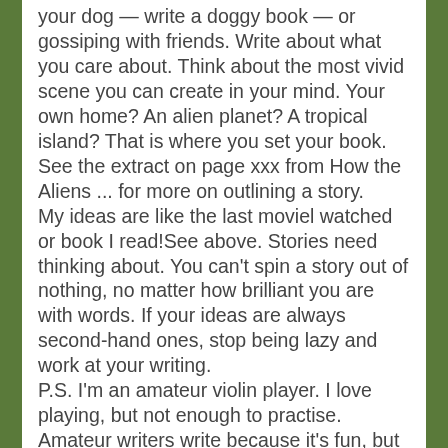your dog — write a doggy book — or gossiping with friends. Write about what you care about. Think about the most vivid scene you can create in your mind. Your own home? An alien planet? A tropical island? That is where you set your book. See the extract on page xxx from How the Aliens ... for more on outlining a story.
My ideas are like the last moviel watched or book I read!See above. Stories need thinking about. You can't spin a story out of nothing, no matter how brilliant you are with words. If your ideas are always second-hand ones, stop being lazy and work at your writing.
P.S. I'm an amateur violin player. I love playing, but not enough to practise. Amateur writers write because it's fun, but they don't love it enough to work and sweat at it. I'm not saying you have to be a professional writer — you will get enormous pleasure being an amateur writer, and give pleasure to others too, not to mention